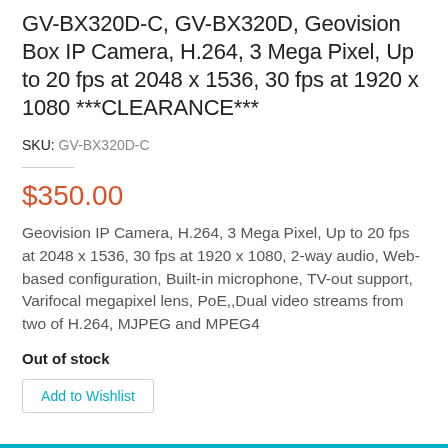GV-BX320D-C, GV-BX320D, Geovision Box IP Camera, H.264, 3 Mega Pixel, Up to 20 fps at 2048 x 1536, 30 fps at 1920 x 1080 ***CLEARANCE***
SKU: GV-BX320D-C
$350.00
Geovision IP Camera, H.264, 3 Mega Pixel, Up to 20 fps at 2048 x 1536, 30 fps at 1920 x 1080, 2-way audio, Web-based configuration, Built-in microphone, TV-out support, Varifocal megapixel lens, PoE,,Dual video streams from two of H.264, MJPEG and MPEG4
Out of stock
Add to Wishlist